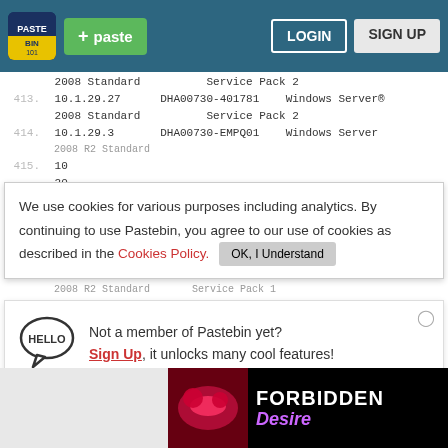Pastebin navigation bar with logo, + paste button, LOGIN and SIGN UP buttons
2008 Standard          Service Pack 2
413.  10.1.29.27      DHA00730-401781    Windows Server® 2008 Standard       Service Pack 2
414.  10.1.29.3       DHA00730-EMPQ01    Windows Server 2008 R2 Standard
Cookie banner: We use cookies for various purposes including analytics. By continuing to use Pastebin, you agree to our use of cookies as described in the Cookies Policy. OK, I Understand
415.  10  20
416.  10  2008 R2 Standard   Service Pack 1
417.  10  20  10
Not a member of Pastebin yet? Sign Up, it unlocks many cool features!
[Figure (other): FORBIDDEN Desire advertisement banner]